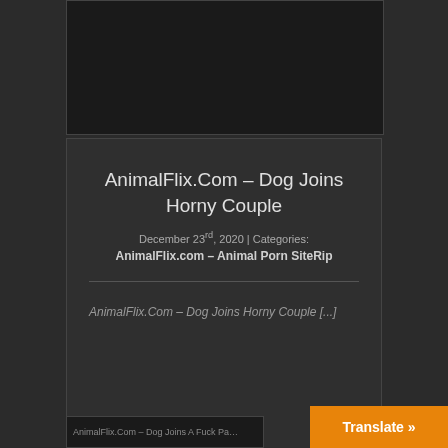[Figure (other): Dark image placeholder area at top of card]
AnimalFlix.Com – Dog Joins Horny Couple
December 23rd, 2020 | Categories:
AnimalFlix.com – Animal Porn SiteRip
AnimalFlix.Com – Dog Joins Horny Couple [...]
Translate »
AnimalFlix.Com – Dog Joins A Fuck Pa…